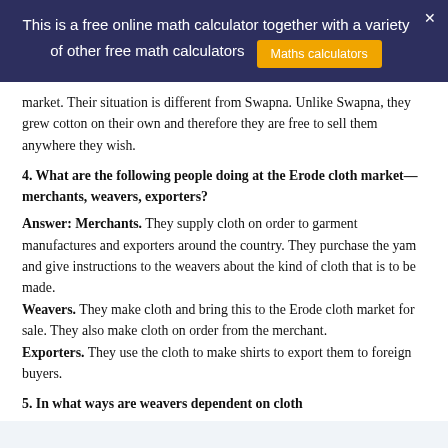This is a free online math calculator together with a variety of other free math calculators  Maths calculators
market. Their situation is different from Swapna. Unlike Swapna, they grew cotton on their own and therefore they are free to sell them anywhere they wish.
4. What are the following people doing at the Erode cloth market—merchants, weavers, exporters?
Answer: Merchants. They supply cloth on order to garment manufactures and exporters around the country. They purchase the yam and give instructions to the weavers about the kind of cloth that is to be made. Weavers. They make cloth and bring this to the Erode cloth market for sale. They also make cloth on order from the merchant.
Exporters. They use the cloth to make shirts to export them to foreign buyers.
5. In what ways are weavers dependent on cloth